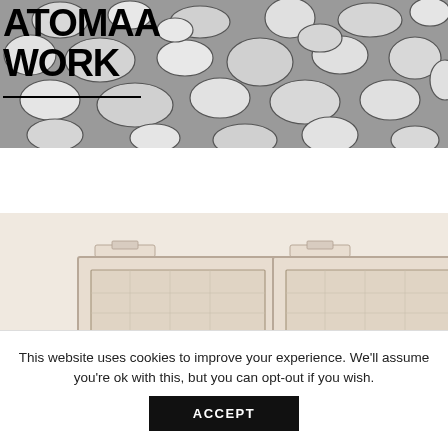[Figure (photo): Terrazzo stone texture background in grey and white, with bold black text overlay reading ATOMAA WORK]
ATOMAA
WORK
[Figure (photo): Three modular wooden wardrobe/cabinet units side by side in a light beige herringbone wood finish, each with a tab handle on top]
ABOUT
This website uses cookies to improve your experience. We'll assume you're ok with this, but you can opt-out if you wish.
ACCEPT